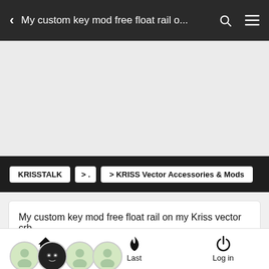My custom key mod free float rail o...
[Figure (screenshot): Gray placeholder/advertisement area]
KRISSTALK  >.  > KRISS Vector Accessories & Mods
My custom key mod free float rail on my Kriss vector crb
4 posters
Home  Last  Log in